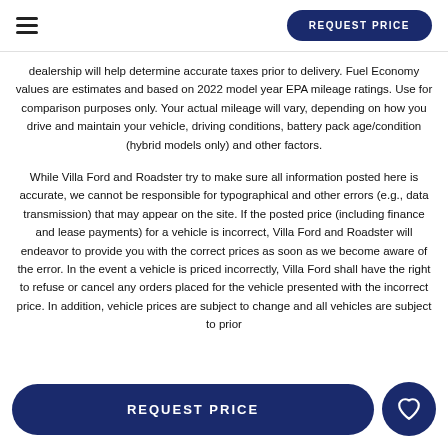REQUEST PRICE
dealership will help determine accurate taxes prior to delivery. Fuel Economy values are estimates and based on 2022 model year EPA mileage ratings. Use for comparison purposes only. Your actual mileage will vary, depending on how you drive and maintain your vehicle, driving conditions, battery pack age/condition (hybrid models only) and other factors.
While Villa Ford and Roadster try to make sure all information posted here is accurate, we cannot be responsible for typographical and other errors (e.g., data transmission) that may appear on the site. If the posted price (including finance and lease payments) for a vehicle is incorrect, Villa Ford and Roadster will endeavor to provide you with the correct prices as soon as we become aware of the error. In the event a vehicle is priced incorrectly, Villa Ford shall have the right to refuse or cancel any orders placed for the vehicle presented with the incorrect price. In addition, vehicle prices are subject to change and all vehicles are subject to prior
REQUEST PRICE